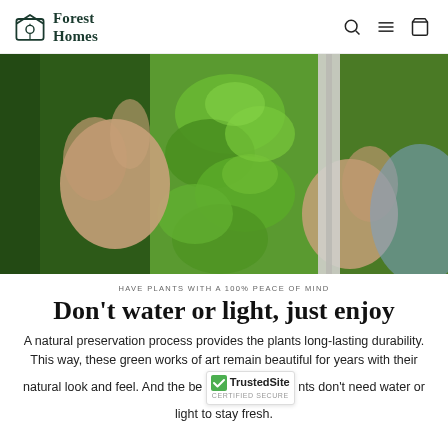Forest Homes
[Figure (photo): Hands placing or touching a lush green moss wall panel]
HAVE PLANTS WITH A 100% PEACE OF MIND
Don't water or light, just enjoy
A natural preservation process provides the plants long-lasting durability. This way, these green works of art remain beautiful for years with their natural look and feel. And the best part... plants don't need water or light to stay fresh.